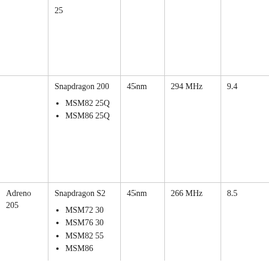|  | 25 |  |  |  |
|  | Snapdragon 200
• MSM8225Q
• MSM8625Q | 45nm | 294 MHz | 9.4 |
| Adreno 205 | Snapdragon S2
• MSM7230
• MSM7630
• MSM8255
• MSM86 | 45nm | 266 MHz | 8.5 |